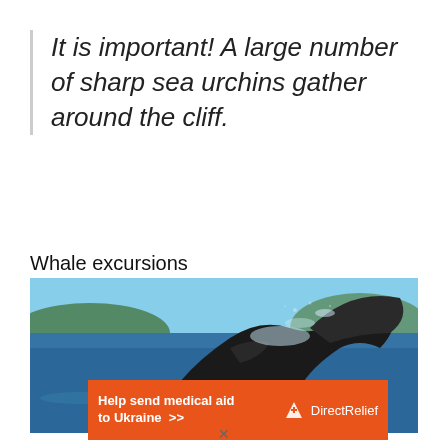It is important! A large number of sharp sea urchins gather around the cliff.
Whale excursions
[Figure (photo): A humpback whale breaching out of the ocean water, with its large body and pectoral fin visible against a blue water background and green hills in the distance.]
[Figure (infographic): Orange advertisement banner reading 'Help send medical aid to Ukraine >>' with Direct Relief logo on the right side.]